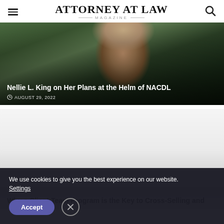ATTORNEY AT LAW MAGAZINE
[Figure (photo): Portrait of a woman with curly reddish hair outdoors with green background, article card with overlay text]
Nellie L. King on Her Plans at the Helm of NACDL
AUGUST 29, 2022
[Figure (photo): Second article card with light/grey background, partially visible]
Why a Client Team Program is the Key to Cross-Selling and
We use cookies to give you the best experience on our website. Settings
Accept